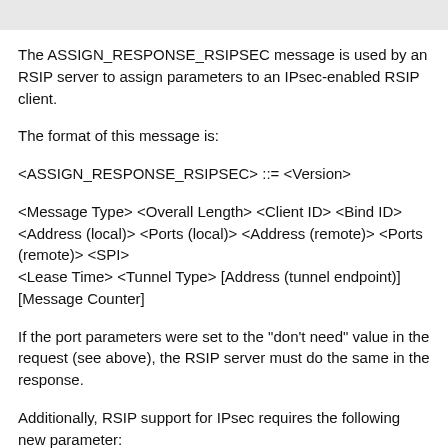The ASSIGN_RESPONSE_RSIPSEC message is used by an RSIP server to assign parameters to an IPsec-enabled RSIP client.
The format of this message is:
<ASSIGN_RESPONSE_RSIPSEC> ::= <Version>
<Message Type> <Overall Length> <Client ID> <Bind ID> <Address (local)> <Ports (local)> <Address (remote)> <Ports (remote)> <SPI>
<Lease Time> <Tunnel Type> [Address (tunnel endpoint)] [Message Counter]
If the port parameters were set to the "don't need" value in the request (see above), the RSIP server must do the same in the response.
Additionally, RSIP support for IPsec requires the following new parameter: